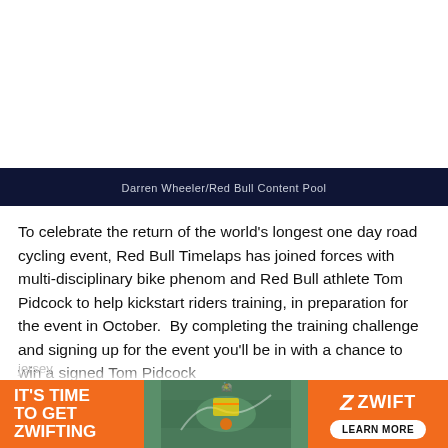[Figure (photo): Large image placeholder (white) at top of page — photo not visible in this crop]
Darren Wheeler/Red Bull Content Pool
To celebrate the return of the world's longest one day road cycling event, Red Bull Timelaps has joined forces with multi-disciplinary bike phenom and Red Bull athlete Tom Pidcock to help kickstart riders training, in preparation for the event in October.  By completing the training challenge and signing up for the event you'll be in with a chance to win a signed Tom Pidcock jersey
[Figure (infographic): Orange advertisement banner at bottom reading IT'S TIME TO GET ZWIFTING with Zwift logo and Learn More button]